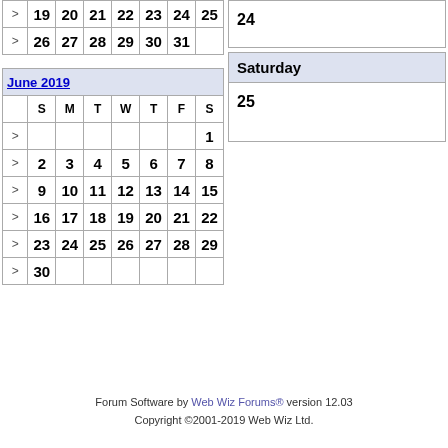|  | S | M | T | W | T | F | S |
| --- | --- | --- | --- | --- | --- | --- | --- |
| > | 19 | 20 | 21 | 22 | 23 | 24 | 25 |
| > | 26 | 27 | 28 | 29 | 30 | 31 |  |
|  | S | M | T | W | T | F | S |
| --- | --- | --- | --- | --- | --- | --- | --- |
| June 2019 |  |  |  |  |  |  |  |
|  | S | M | T | W | T | F | S |
| > |  |  |  |  |  |  | 1 |
| > | 2 | 3 | 4 | 5 | 6 | 7 | 8 |
| > | 9 | 10 | 11 | 12 | 13 | 14 | 15 |
| > | 16 | 17 | 18 | 19 | 20 | 21 | 22 |
| > | 23 | 24 | 25 | 26 | 27 | 28 | 29 |
| > | 30 |  |  |  |  |  |  |
24
Saturday
25
Forum Software by Web Wiz Forums® version 12.03
Copyright ©2001-2019 Web Wiz Ltd.